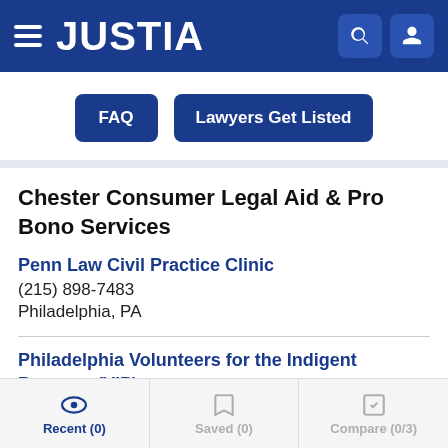JUSTIA
FAQ | Lawyers Get Listed
Chester Consumer Legal Aid & Pro Bono Services
Penn Law Civil Practice Clinic
(215) 898-7483
Philadelphia, PA
Philadelphia Volunteers for the Indigent Program (VIP)
(215) 523-9550
Recent (0) | Saved (0) | Compare (0/3)